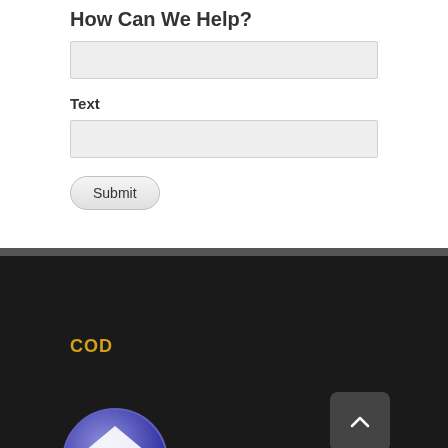How Can We Help?
Text
[Figure (screenshot): A web contact form with an empty search/input bar at top, a labeled 'Text' input field below, and a Submit button. Below is a dark footer with 'COD' in gold text, a scroll-to-top button, and a circular logo icon of a building/garage.]